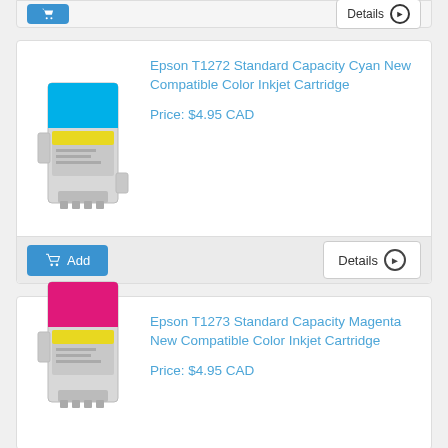[Figure (photo): Partial product card footer from previous item showing Add and Details buttons]
[Figure (photo): Epson T1272 Standard Capacity Cyan compatible inkjet cartridge product image - gray cartridge with cyan top]
Epson T1272 Standard Capacity Cyan New Compatible Color Inkjet Cartridge
Price: $4.95 CAD
[Figure (photo): Epson T1273 Standard Capacity Magenta compatible inkjet cartridge product image - gray cartridge with magenta top]
Epson T1273 Standard Capacity Magenta New Compatible Color Inkjet Cartridge
Price: $4.95 CAD